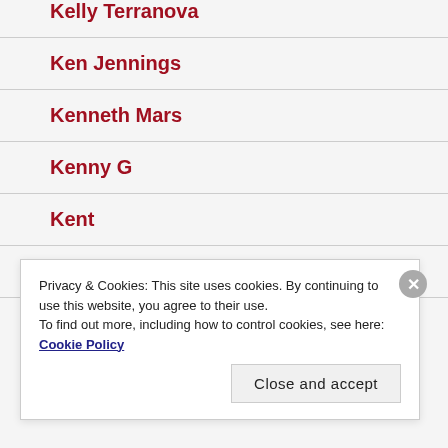Kelly Terranova
Ken Jennings
Kenneth Mars
Kenny G
Kent
Kentucky
Privacy & Cookies: This site uses cookies. By continuing to use this website, you agree to their use.
To find out more, including how to control cookies, see here: Cookie Policy
Close and accept